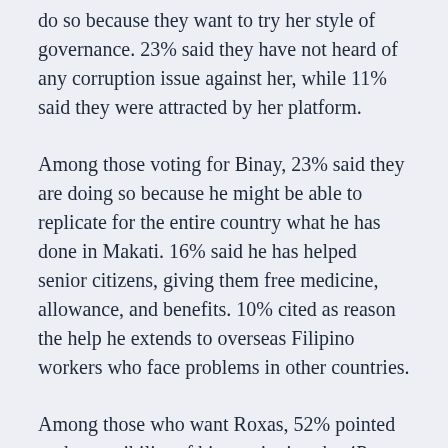do so because they want to try her style of governance. 23% said they have not heard of any corruption issue against her, while 11% said they were attracted by her platform.
Among those voting for Binay, 23% said they are doing so because he might be able to replicate for the entire country what he has done in Makati. 16% said he has helped senior citizens, giving them free medicine, allowance, and benefits. 10% cited as reason the help he extends to overseas Filipino workers who face problems in other countries.
Among those who want Roxas, 52% pointed to the possibility of his continuing the 4Ps or poverty alleviation program of President Benigno Aquino III. 12% said Roxas has not been